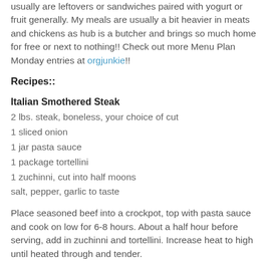usually are leftovers or sandwiches paired with yogurt or fruit generally. My meals are usually a bit heavier in meats and chickens as hub is a butcher and brings so much home for free or next to nothing!! Check out more Menu Plan Monday entries at orgjunkie!!
Recipes::
Italian Smothered Steak
2 lbs. steak, boneless, your choice of cut
1 sliced onion
1 jar pasta sauce
1 package tortellini
1 zuchinni, cut into half moons
salt, pepper, garlic to taste
Place seasoned beef into a crockpot, top with pasta sauce and cook on low for 6-8 hours. About a half hour before serving, add in zuchinni and tortellini. Increase heat to high until heated through and tender.
Apricot Chicken Pasta as referenced from The Big Red Pot